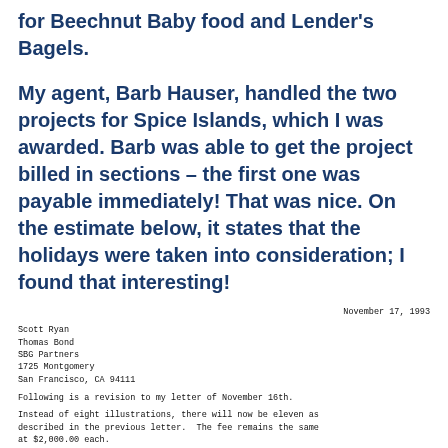for Beechnut Baby food and Lender's Bagels.
My agent, Barb Hauser, handled the two projects for Spice Islands, which I was awarded. Barb was able to get the project billed in sections – the first one was payable immediately! That was nice. On the estimate below, it states that the holidays were taken into consideration; I found that interesting!
November 17, 1993

Scott Ryan
Thomas Bond
SBG Partners
1725 Montgomery
San Francisco, CA 94111

Following is a revision to my letter of November 16th.

Instead of eight illustrations, there will now be eleven as described in the previous letter. The fee remains the same at $2,000.00 each.

The schedule, however, will change due to the increase in workload. The date for delivery of all eleven pieces of finished artwork will be no later than Tuesday, December 28, 1993. Staggering delivery of the art can be determined as the project progresses.

If it is decided that a twelfth and thirteenth flavor need to be illustrated the delivery will again be extended by a week,